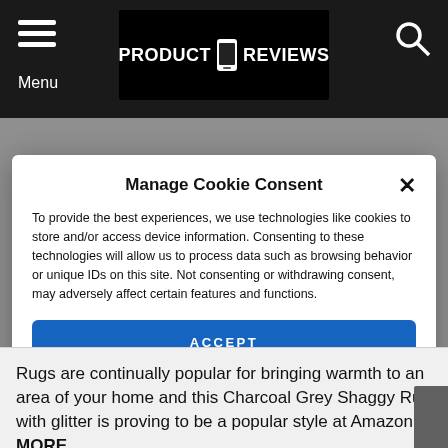PRODUCT REVIEWS — Menu header with logo and search icon
Manage Cookie Consent
To provide the best experiences, we use technologies like cookies to store and/or access device information. Consenting to these technologies will allow us to process data such as browsing behavior or unique IDs on this site. Not consenting or withdrawing consent, may adversely affect certain features and functions.
ACCEPT
VIEW PREFERENCES
Cookie Policy  Privacy Policy
Rugs are continually popular for bringing warmth to an area of your home and this Charcoal Grey Shaggy Rug with glitter is proving to be a popular style at Amazon. MORE